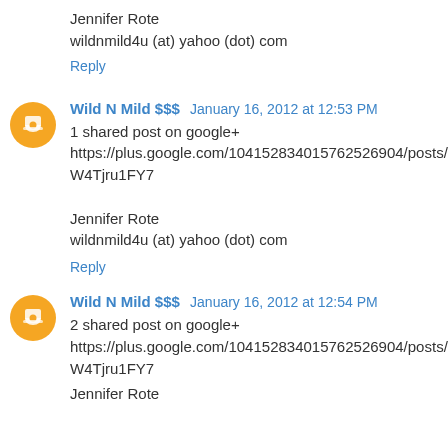Jennifer Rote
wildnmild4u (at) yahoo (dot) com
Reply
Wild N Mild $$$ January 16, 2012 at 12:53 PM
1 shared post on google+
https://plus.google.com/104152834015762526904/posts/EW4Tjru1FY7

Jennifer Rote
wildnmild4u (at) yahoo (dot) com
Reply
Wild N Mild $$$ January 16, 2012 at 12:54 PM
2 shared post on google+
https://plus.google.com/104152834015762526904/posts/EW4Tjru1FY7
Jennifer Rote